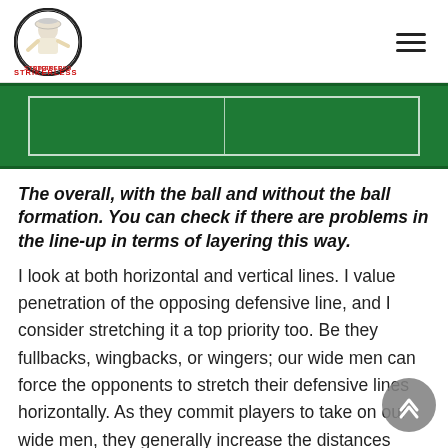Strikerless logo and navigation hamburger menu
[Figure (illustration): A green football/soccer pitch field diagram showing top portion with white border lines and center line dividing the field into two halves, on dark green background.]
The overall, with the ball and without the ball formation. You can check if there are problems in the line-up in terms of layering this way.
I look at both horizontal and vertical lines. I value penetration of the opposing defensive line, and I consider stretching it a top priority too. Be they fullbacks, wingbacks, or wingers; our wide men can force the opponents to stretch their defensive lines horizontally. As they commit players to take on our wide men, they generally increase the distances between them and consequentially leave gaps for my team to